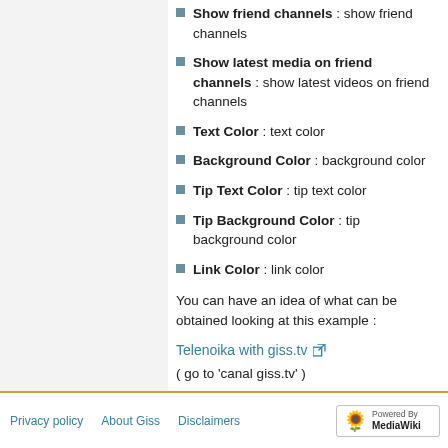Show friend channels : show friend channels
Show latest media on friend channels : show latest videos on friend channels
Text Color : text color
Background Color : background color
Tip Text Color : tip text color
Tip Background Color : tip background color
Link Color : link color
You can have an idea of what can be obtained looking at this example :
Telenoika with giss.tv
( go to 'canal giss.tv' )
Thanks to Telenoika for supporting this development.
Privacy policy  About Giss  Disclaimers  Powered by MediaWiki